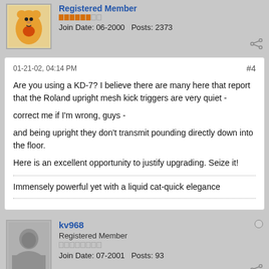Registered Member
Join Date: 06-2000   Posts: 2373
01-21-02, 04:14 PM   #4
Are you using a KD-7? I believe there are many here that report that the Roland upright mesh kick triggers are very quiet -

correct me if I'm wrong, guys -

and being upright they don't transmit pounding directly down into the floor.

Here is an excellent opportunity to justify upgrading. Seize it!
Immensely powerful yet with a liquid cat-quick elegance
kv968
Registered Member
Join Date: 07-2001   Posts: 93